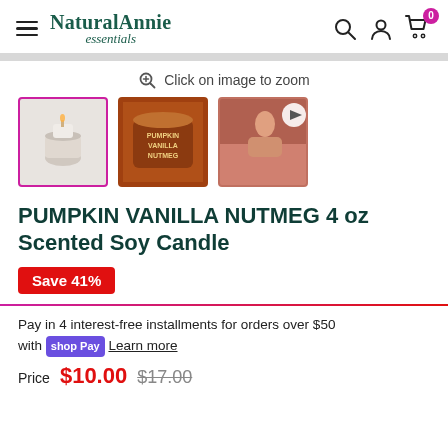NaturalAnnie essentials — navigation header with hamburger, logo, search, account, cart icons
Click on image to zoom
[Figure (photo): Three product thumbnails: selected candle in light setting, brown jar of Pumpkin Vanilla Nutmeg candle, video thumbnail with play button]
PUMPKIN VANILLA NUTMEG 4 oz Scented Soy Candle
Save 41%
Pay in 4 interest-free installments for orders over $50 with shop Pay Learn more
Price $10.00 $17.00